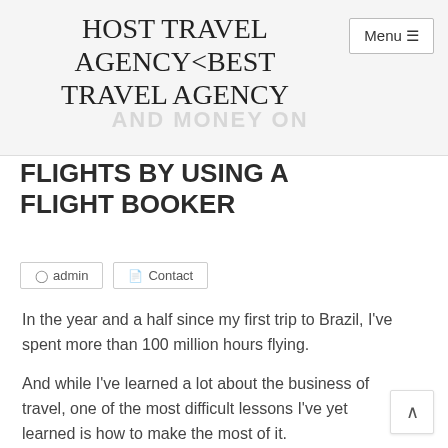HOST TRAVEL AGENCY<BEST TRAVEL AGENCY
FLIGHTS BY USING A FLIGHT BOOKER
admin   Contact
In the year and a half since my first trip to Brazil, I've spent more than 100 million hours flying.
And while I've learned a lot about the business of travel, one of the most difficult lessons I've yet learned is how to make the most of it.